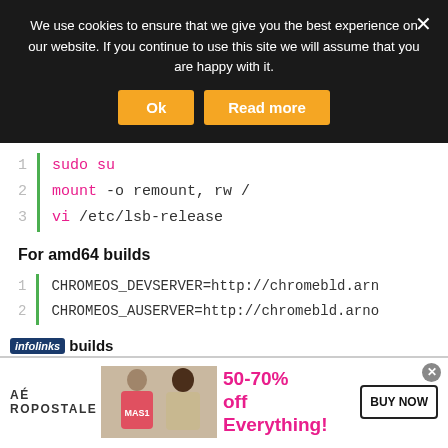We use cookies to ensure that we give you the best experience on our website. If you continue to use this site we will assume that you are happy with it.
[Figure (screenshot): Cookie consent banner with Ok and Read more buttons on dark background]
[Figure (screenshot): Code block with 3 lines: 1: sudo su, 2: mount -o remount, rw /, 3: vi /etc/lsb-release]
For amd64 builds
[Figure (screenshot): Code block with 2 lines: 1: CHROMEOS_DEVSERVER=http://chromebld.arn, 2: CHROMEOS_AUSERVER=http://chromebld.arno]
infolinks builds
[Figure (screenshot): Aeropostale advertisement banner: 50-70% off Everything! BUY NOW]